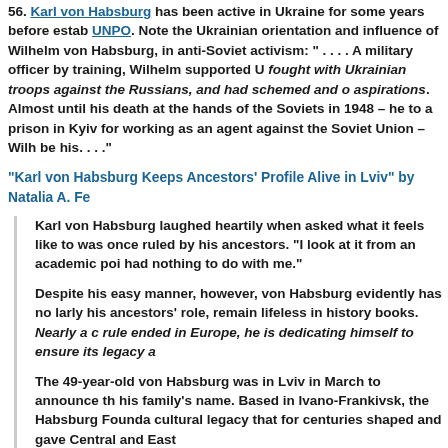56. Karl von Habsburg has been active in Ukraine for some years before establishing UNPO. Note the Ukrainian orientation and influence of Wilhelm von Habsburg, including anti-Soviet activism: " . . . . A military officer by training, Wilhelm supported U fought with Ukrainian troops against the Russians, and had schemed and d aspirations. Almost until his death at the hands of the Soviets in 1948 – he to a prison in Kyiv for working as an agent against the Soviet Union – Wilhe be his. . . ."
"Karl von Habsburg Keeps Ancestors' Profile Alive in Lviv" by Natalia A. Fe
Karl von Habsburg laughed heartily when asked what it feels like to was once ruled by his ancestors. "I look at it from an academic poi had nothing to do with me."
Despite his easy manner, however, von Habsburg evidently has no larly his ancestors' role, remain lifeless in history books. Nearly a c rule ended in Europe, he is dedicating himself to ensure its legacy a
The 49-year-old von Habsburg was in Lviv in March to announce th his family's name. Based in Ivano-Frankivsk, the Habsburg Founda cultural legacy that for centuries shaped and gave Central and East
. . . . "In this area, we need to do something about keeping the herit tual history. Authors came here because they got their inspiration h view. . . .